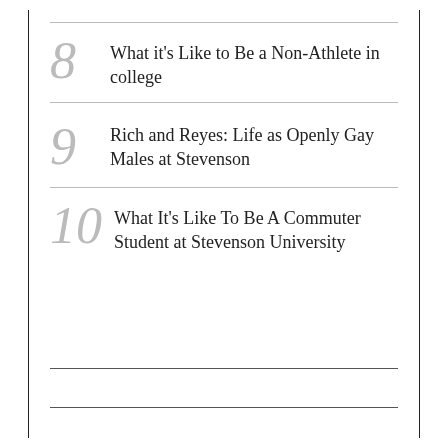8 What it's Like to Be a Non-Athlete in college
9 Rich and Reyes: Life as Openly Gay Males at Stevenson
10 What It's Like To Be A Commuter Student at Stevenson University